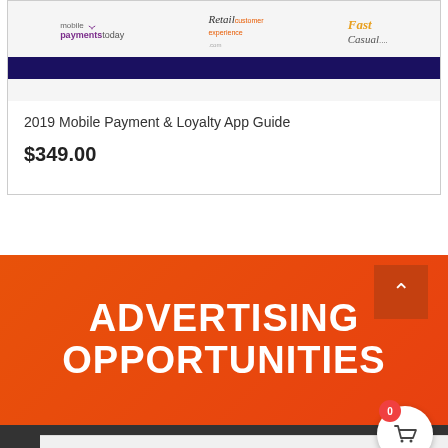[Figure (screenshot): Product card showing logos for Mobile Payments Today, Retail Customer Experience, and Fast Casual, with a dark purple bar below]
2019 Mobile Payment & Loyalty App Guide
$349.00
ADVERTISING OPPORTUNITIES